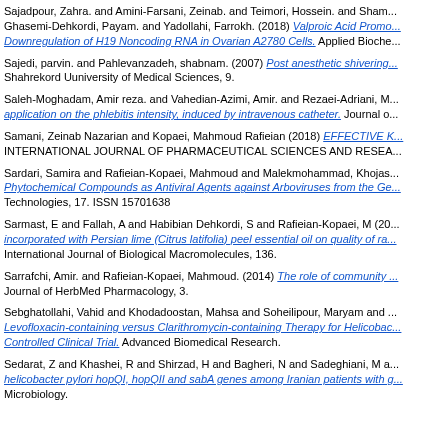Sajadpour, Zahra. and Amini-Farsani, Zeinab. and Teimori, Hossein. and Shami... Ghasemi-Dehkordi, Payam. and Yadollahi, Farrokh. (2018) Valproic Acid Promo... Downregulation of H19 Noncoding RNA in Ovarian A2780 Cells. Applied Bioche...
Sajedi, parvin. and Pahlevanzadeh, shabnam. (2007) Post anesthetic shivering... Shahrekord Uuniversity of Medical Sciences, 9.
Saleh-Moghadam, Amir reza. and Vahedian-Azimi, Amir. and Rezaei-Adriani, M... application on the phlebitis intensity, induced by intravenous catheter. Journal o...
Samani, Zeinab Nazarian and Kopaei, Mahmoud Rafieian (2018) EFFECTIVE K... INTERNATIONAL JOURNAL OF PHARMACEUTICAL SCIENCES AND RESEA...
Sardari, Samira and Rafieian-Kopaei, Mahmoud and Malekmohammad, Khojas... Phytochemical Compounds as Antiviral Agents against Arboviruses from the Ge... Technologies, 17. ISSN 15701638
Sarmast, E and Fallah, A and Habibian Dehkordi, S and Rafieian-Kopaei, M (20... incorporated with Persian lime (Citrus latifolia) peel essential oil on quality of ra... International Journal of Biological Macromolecules, 136.
Sarrafchi, Amir. and Rafieian-Kopaei, Mahmoud. (2014) The role of community ... Journal of HerbMed Pharmacology, 3.
Sebghatollahi, Vahid and Khodadoostan, Mahsa and Soheilipour, Maryam and ... Levofloxacin-containing versus Clarithromycin-containing Therapy for Helicobac... Controlled Clinical Trial. Advanced Biomedical Research.
Sedarat, Z and Khashei, R and Shirzad, H and Bagheri, N and Sadeghiani, M a... helicobacter pylori hopQI, hopQII and sabA genes among Iranian patients with g... Microbiology.